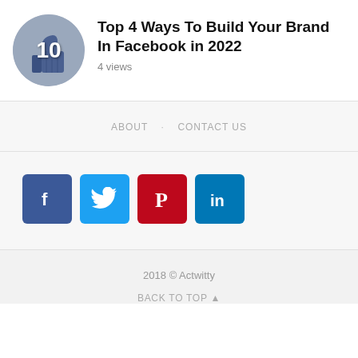[Figure (illustration): Circular avatar with a 3D thumbs-up icon and number 10 overlaid]
Top 4 Ways To Build Your Brand In Facebook in 2022
4 views
ABOUT · CONTACT US
[Figure (illustration): Social media icon buttons: Facebook, Twitter, Pinterest, LinkedIn]
2018 © Actwitty
BACK TO TOP ▲